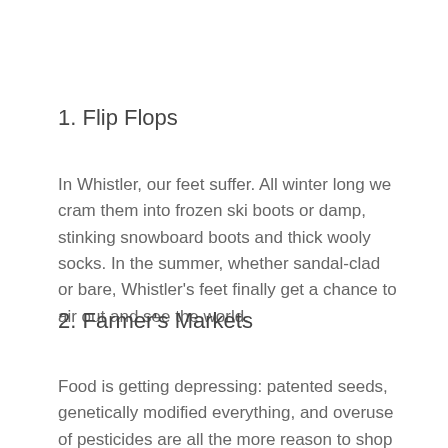1. Flip Flops
In Whistler, our feet suffer. All winter long we cram them into frozen ski boots or damp, stinking snowboard boots and thick wooly socks. In the summer, whether sandal-clad or bare, Whistler’s feet finally get a chance to air out and see the world.
2. Farmer’s Markets
Food is getting depressing: patented seeds, genetically modified everything, and overuse of pesticides are all the more reason to shop local. Pemberton and Squamish both have lots of great farms and The Whistler Farmer’s